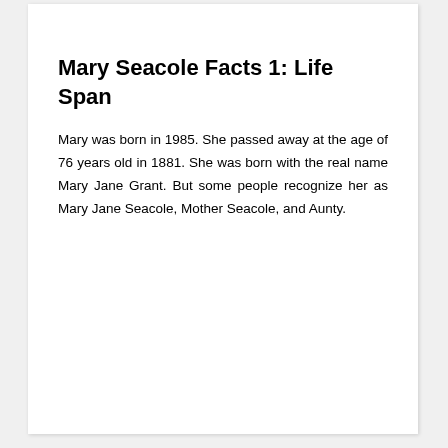Mary Seacole Facts 1: Life Span
Mary was born in 1985. She passed away at the age of 76 years old in 1881. She was born with the real name Mary Jane Grant. But some people recognize her as Mary Jane Seacole, Mother Seacole, and Aunty.